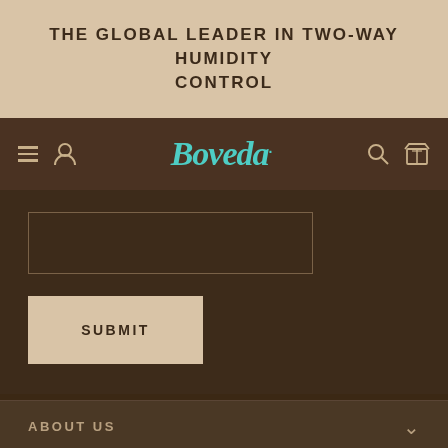THE GLOBAL LEADER IN TWO-WAY HUMIDITY CONTROL
[Figure (logo): Boveda brand logo in teal/turquoise color on dark brown navigation bar, with hamburger menu, user icon on left and search, box icons on right]
[Figure (screenshot): A text input field (empty) and a Submit button on dark brown background]
ABOUT US
RESOURCES
[Figure (infographic): Social media share bar with Facebook (blue), Twitter (light blue), LinkedIn (dark blue), Reddit (orange) buttons]